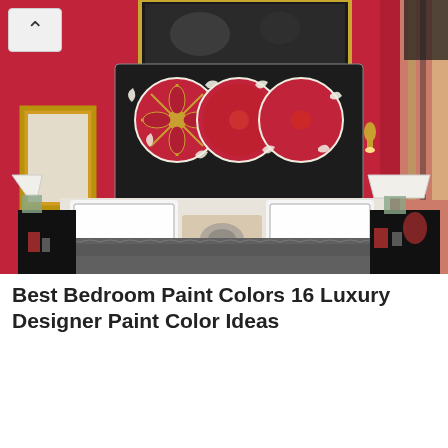[Figure (photo): A luxurious bedroom with deep crimson/red walls, a large ornate black headboard with circular red and gold suzani embroidery pattern, white bedding with multiple pillows, a gray fur throw blanket, gold wall sconces, two table lamps with pleated white shades, a gilded mirror on the left wall, and nightstands on both sides. A framed artwork hangs above the headboard.]
Best Bedroom Paint Colors 16 Luxury Designer Paint Color Ideas